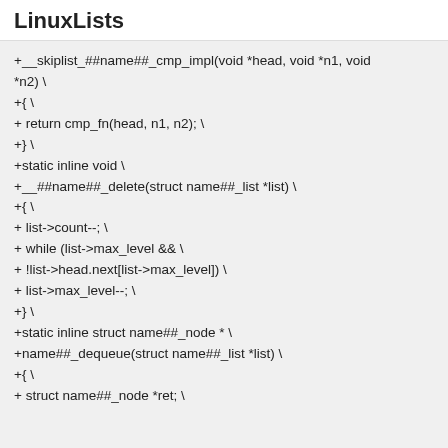LinuxLists
+__skiplist_##name##_cmp_impl(void *head, void *n1, void *n2) \
+{ \
+ return cmp_fn(head, n1, n2); \
+} \
+static inline void \
+__##name##_delete(struct name##_list *list) \
+{ \
+ list->count--; \
+ while (list->max_level && \
+ !list->head.next[list->max_level]) \
+ list->max_level--; \
+} \
+static inline struct name##_node * \
+name##_dequeue(struct name##_list *list) \
+{ \
+ struct name##_node *ret; \